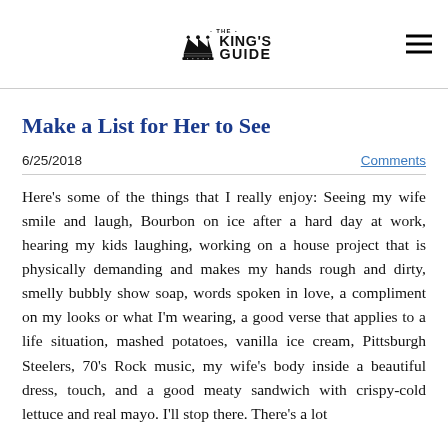The King's Guide
Make a List for Her to See
6/25/2018
Comments
Here's some of the things that I really enjoy: Seeing my wife smile and laugh, Bourbon on ice after a hard day at work, hearing my kids laughing, working on a house project that is physically demanding and makes my hands rough and dirty, smelly bubbly show soap, words spoken in love, a compliment on my looks or what I'm wearing, a good verse that applies to a life situation, mashed potatoes, vanilla ice cream, Pittsburgh Steelers, 70's Rock music, my wife's body inside a beautiful dress, touch, and a good meaty sandwich with crispy-cold lettuce and real mayo. I'll stop there. There's a lot